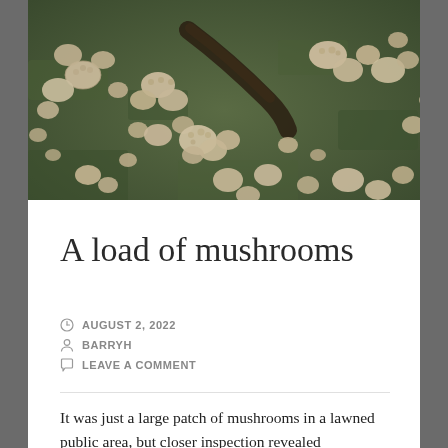[Figure (photo): Overhead photograph of a large cluster of small mushrooms with pale tan/beige scalloped caps scattered across a patch of green grass, with a dark piece of wood or bark visible among them.]
A load of mushrooms
AUGUST 2, 2022
BARRYH
LEAVE A COMMENT
It was just a large patch of mushrooms in a lawned public area, but closer inspection revealed interesting characters present in abundance on the